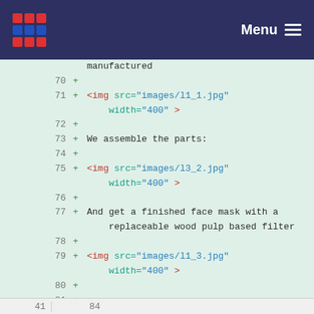Menu
Code diff view showing lines 70-84 with HTML img tags and text content: manufactured, <img src="images/l1_1.jpg" width="400" >, We assemble the parts:, <img src="images/l3_2.jpg" width="400" >, And get a finished face mask with a replaceable wood pulp based filter, <img src="images/l1_3.jpg" width="400" >